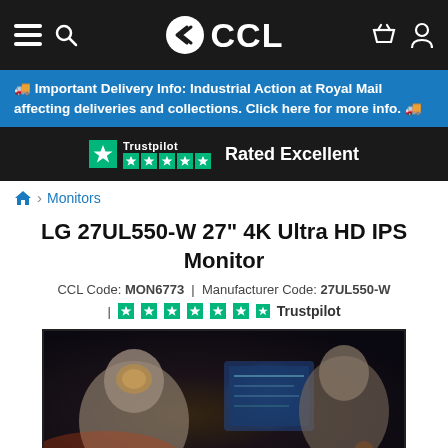CCL — Navigation bar with menu, search, logo, basket, account icons
🚚 Important Delivery Info: Industrial Action at Royal Mail affecting deliveries and collections. Click here for more info. 🚚
[Figure (logo): Trustpilot logo with 5 stars and text 'Rated Excellent' on dark background]
🏠 > Monitors
LG 27UL550-W 27" 4K Ultra HD IPS Monitor
CCL Code: MON6773  |  Manufacturer Code: 27UL550-W
[Figure (logo): Trustpilot rating — 5 green stars with Trustpilot logo]
[Figure (photo): Product photo of LG 27UL550-W monitor displaying a video game scene with armored characters]